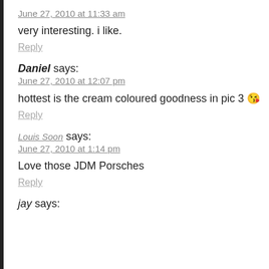June 27, 2010 at 11:33 am
very interesting. i like.
Reply
Daniel says:
June 27, 2010 at 12:07 pm
hottest is the cream coloured goodness in pic 3 😘
Reply
Louis Soon says:
June 27, 2010 at 1:14 pm
Love those JDM Porsches
Reply
jay says: